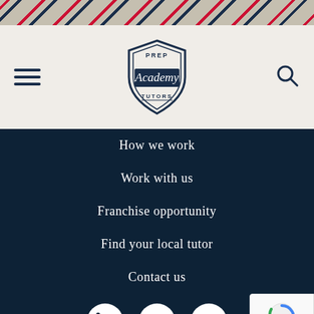[Figure (illustration): Diagonal stripe decorative header bar with navy and red stripes on a tan/khaki background]
[Figure (logo): Prep Academy Tutors shield/badge logo with script 'Academy' text on dark banner, surrounded by shield shape]
How we work
Work with us
Franchise opportunity
Find your local tutor
Contact us
[Figure (illustration): Social media icons: LinkedIn, Facebook, Twitter (white icons on dark navy background)]
[Figure (illustration): reCAPTCHA widget badge showing Privacy and Terms links]